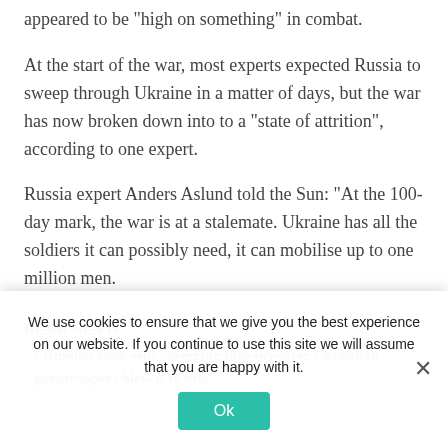appeared to be "high on something" in combat.
At the start of the war, most experts expected Russia to sweep through Ukraine in a matter of days, but the war has now broken down into to a "state of attrition", according to one expert.
Russia expert Anders Aslund told the Sun: "At the 100-day mark, the war is at a stalemate. Ukraine has all the soldiers it can possibly need, it can mobilise up to one million men.
READ NEXT:
Russian tank sent careering into sky after Ukrainian paratroopers blew it to bits
We use cookies to ensure that we give you the best experience on our website. If you continue to use this site we will assume that you are happy with it.